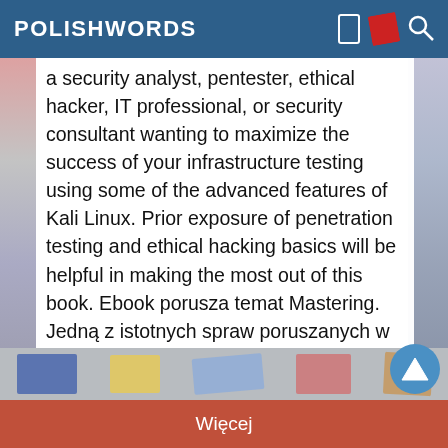POLISHWORDS
a security analyst, pentester, ethical hacker, IT professional, or security consultant wanting to maximize the success of your infrastructure testing using some of the advanced features of Kali Linux. Prior exposure of penetration testing and ethical hacking basics will be helpful in making the most out of this book. Ebook porusza temat Mastering. Jedną z istotnych spraw poruszanych w ebooki jest: Advanced. Jeśli interesuje Cię: Penetration, to ebook dla Ciebie. Dużo wiedzy na temat: Testing w formacie EPUB, MOBI i PDF.
Więcej